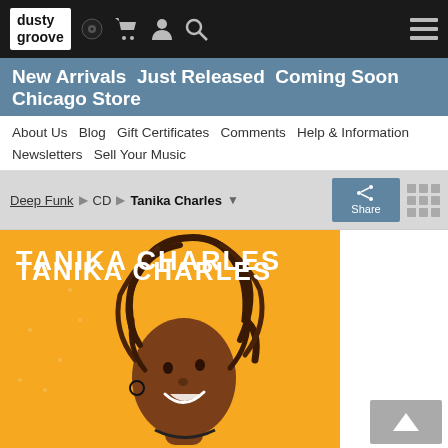dusty groove — header with logo, cart, user, search, hamburger icons
New Arrivals  Just Released  Coming Soon  Chicago Store
About Us  Blog  Gift Certificates  Comments  Help & Information  Newsletters  Sell Your Music
Breadcrumb: Deep Funk > CD > Tanika Charles
[Figure (photo): Album cover for Tanika Charles — orange background with text 'TANIKA CHARLES' at top in white, and a photo of a smiling Black woman with locs, looking upward.]